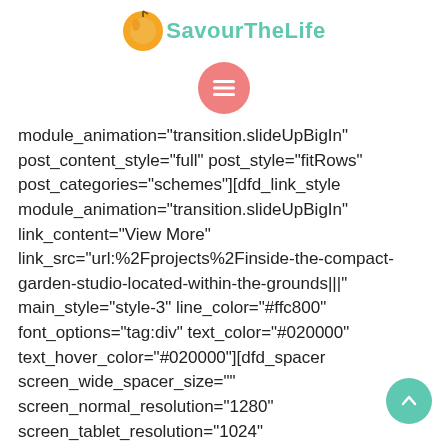SavourTheLife
module_animation="transition.slideUpBigIn" post_content_style="full" post_style="fitRows" post_categories="schemes"][dfd_link_style module_animation="transition.slideUpBigIn" link_content="View More" link_src="url:%2Fprojects%2Finside-the-compact-garden-studio-located-within-the-grounds|||" main_style="style-3" line_color="#ffc800" font_options="tag:div" text_color="#020000" text_hover_color="#020000"][dfd_spacer screen_wide_spacer_size="" screen_normal_resolution="1280" screen_tablet_resolution="1024" screen_mobile_resolution="800"